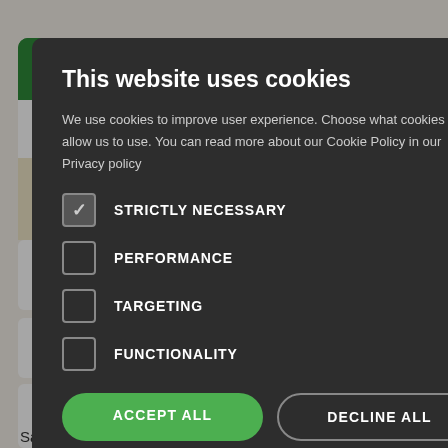[Figure (screenshot): Background website showing a green header bar with text 'Airport', distance information '17 m | 8.08 km', and several white accordion-style cards with text 'vailable', 'oort?', 'ivan from' and chevron icons, plus bottom text 'Sarajevo Airport in advance?']
This website uses cookies
We use cookies to improve user experience. Choose what cookies you allow us to use. You can read more about our Cookie Policy in our Privacy policy
STRICTLY NECESSARY
PERFORMANCE
TARGETING
FUNCTIONALITY
ACCEPT ALL
DECLINE ALL
SHOW DETAILS